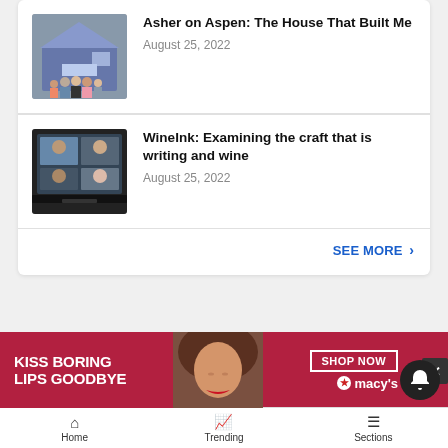[Figure (photo): Thumbnail photo of a group of people standing in front of a house with a garage]
Asher on Aspen: The House That Built Me
August 25, 2022
[Figure (photo): Thumbnail photo showing a laptop screen with a video call grid of participants]
WineInk: Examining the craft that is writing and wine
August 25, 2022
SEE MORE ›
[Figure (photo): Advertisement banner: KISS BORING LIPS GOODBYE — SHOP NOW — Macy's, showing a woman's face with red lipstick on a dark red and purple background]
Home   Trending   Sections